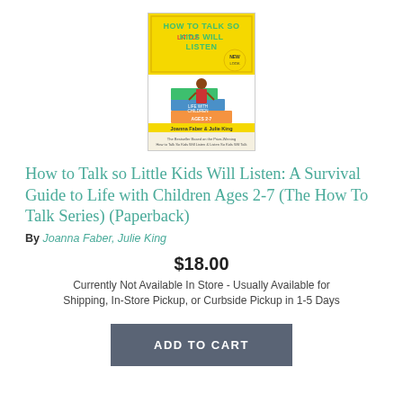[Figure (illustration): Book cover: 'How to Talk So Little Kids Will Listen: A Survival Guide to Life with Children Ages 2-7' by Joanna Faber & Julie King. Yellow banner at top with green and red text, illustration of a child standing on stacked books, teal/blue/orange book spines labeled 'Ages 2-7'.]
How to Talk so Little Kids Will Listen: A Survival Guide to Life with Children Ages 2-7 (The How To Talk Series) (Paperback)
By Joanna Faber, Julie King
$18.00
Currently Not Available In Store - Usually Available for Shipping, In-Store Pickup, or Curbside Pickup in 1-5 Days
ADD TO CART